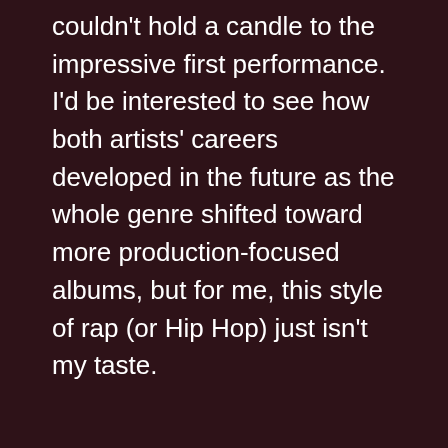couldn't hold a candle to the impressive first performance. I'd be interested to see how both artists' careers developed in the future as the whole genre shifted toward more production-focused albums, but for me, this style of rap (or Hip Hop) just isn't my taste.
For next week: Isn't all that thinking exhausting? How about some brain dead pop music? Panic! At The Disco released a new album a few weeks ago called Death of a Bachelor. It's most likely mediocre but that's one of the few bands I actually follow so I want to listen to it. You can listen to it on Spotify. Here's a head's up: If/When Kanye